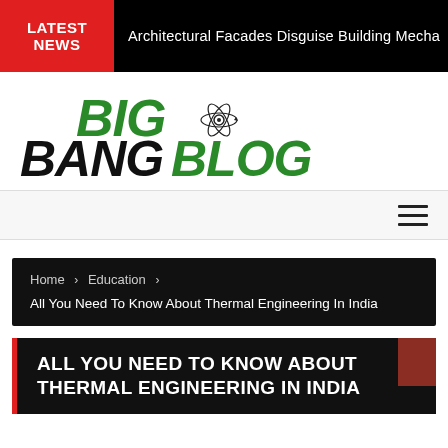LATEST NEWS | Architectural Facades Disguise Building Mecha
[Figure (logo): Big Bang Blog logo with atom graphic, green and black bold italic text]
Navigation menu (hamburger icon)
Home > Education > All You Need To Know About Thermal Engineering In India
ALL YOU NEED TO KNOW ABOUT THERMAL ENGINEERING IN INDIA